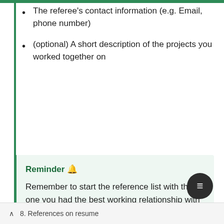The referee's contact information (e.g. Email, phone number)
(optional) A short description of the projects you worked together on
Reminder 🔔
Remember to start the reference list with the one you had the best working relationship with and to previously confirm the referees' willingness.
8. References on resume